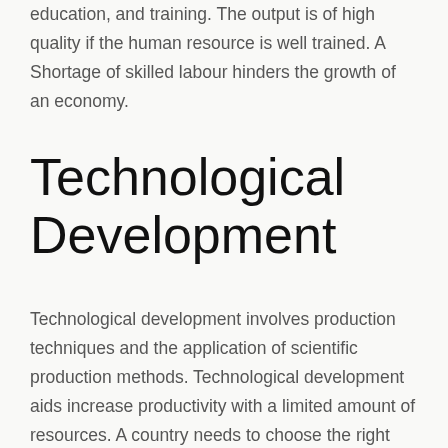human resource depends on its creativity, skills, education, and training. The output is of high quality if the human resource is well trained. A Shortage of skilled labour hinders the growth of an economy.
Technological Development
Technological development involves production techniques and the application of scientific production methods. Technological development aids increase productivity with a limited amount of resources. A country needs to choose the right technology if they want to grow an economy.